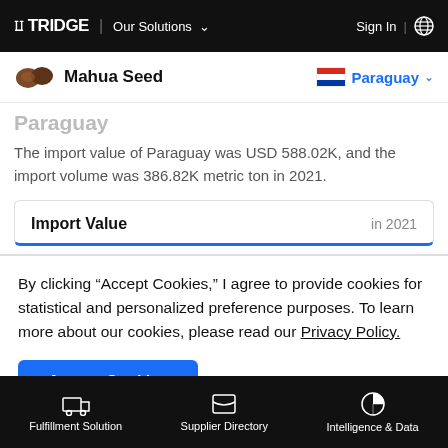TRIDGE | Our Solutions   Sign In | Globe
Mahua Seed   Paraguay
Paraguay
The import value of Paraguay was USD 588.02K, and the import volume was 386.82K metric ton in 2021.
| Import Value | in 2021 |
| --- | --- |
By clicking “Accept Cookies,” I agree to provide cookies for statistical and personalized preference purposes. To learn more about our cookies, please read our Privacy Policy.
Accept Cookies
Fulfillment Solution   Supplier Directory   Intelligence & Data